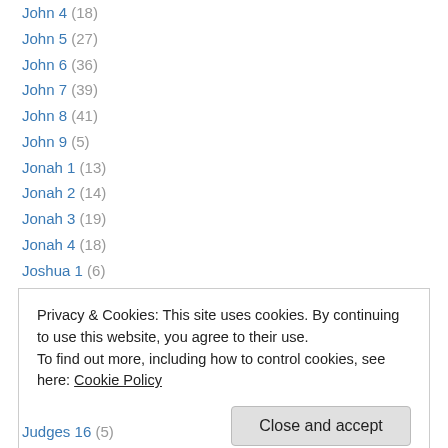John 4 (18)
John 5 (27)
John 6 (36)
John 7 (39)
John 8 (41)
John 9 (5)
Jonah 1 (13)
Jonah 2 (14)
Jonah 3 (19)
Jonah 4 (18)
Joshua 1 (6)
Joshua 2 (9)
Joshua 24 (9)
Privacy & Cookies: This site uses cookies. By continuing to use this website, you agree to their use. To find out more, including how to control cookies, see here: Cookie Policy
Judges 16 (5)